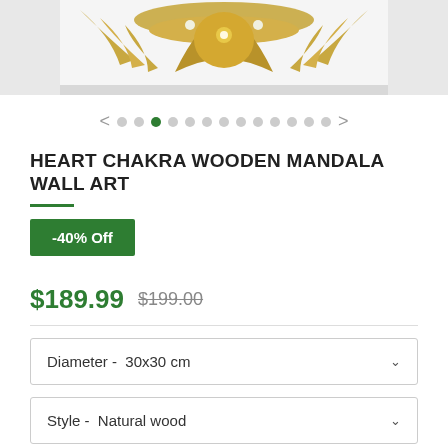[Figure (photo): Top portion of a golden Heart Chakra Wooden Mandala wall art piece against a light background]
< • • • • • • • • • • • • >
HEART CHAKRA WOODEN MANDALA WALL ART
-40% Off
$189.99  $199.00
Diameter -  30x30 cm
Style -  Natural wood